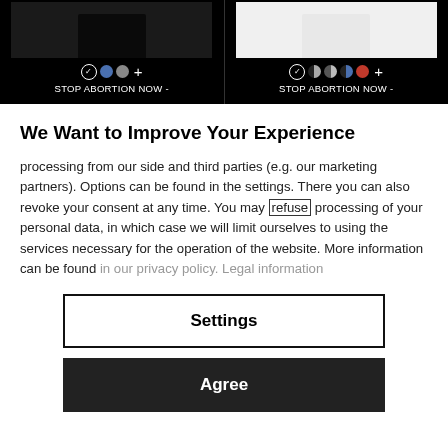[Figure (screenshot): Top black banner with two product thumbnails showing black items, color selection dots (checkmark, blue, gray, and checkmark, half-dark, half-gray, half-blue, red), and labels 'STOP ABORTION NOW -' on each side]
We Want to Improve Your Experience
processing from our side and third parties (e.g. our marketing partners). Options can be found in the settings. There you can also revoke your consent at any time. You may refuse processing of your personal data, in which case we will limit ourselves to using the services necessary for the operation of the website. More information can be found in our privacy policy. Legal information
Settings
Agree